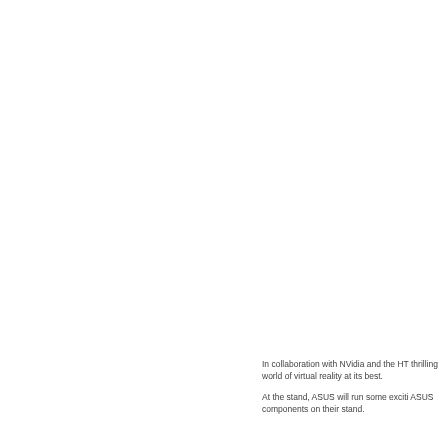In collaboration with NVidia and the HT thrilling world of virtual reality at its best.

At the stand, ASUS will run some exciti ASUS components on their stand.